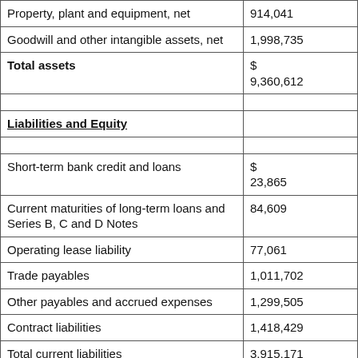| Item | Amount |
| --- | --- |
| Property, plant and equipment, net | 914,041 |
| Goodwill and other intangible assets, net | 1,998,735 |
| Total assets | $ 9,360,612 |
|  |  |
| Liabilities and Equity |  |
|  |  |
| Short-term bank credit and loans | $ 23,865 |
| Current maturities of long-term loans and Series B, C and D Notes | 84,609 |
| Operating lease liability | 77,061 |
| Trade payables | 1,011,702 |
| Other payables and accrued expenses | 1,299,505 |
| Contract liabilities | 1,418,429 |
| Total current liabilities | 3,915,171 |
|  |  |
| Long-term loans, net of current maturities | 387,135 |